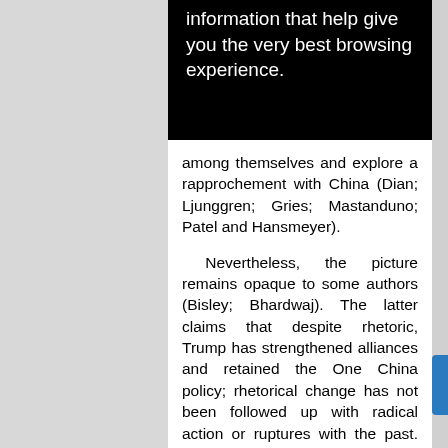[Figure (screenshot): Black banner with white text reading: 'information that help give you the very best browsing experience.']
among themselves and explore a rapprochement with China (Dian; Ljunggren; Gries; Mastanduno; Patel and Hansmeyer).
Nevertheless, the picture remains opaque to some authors (Bisley; Bhardwaj). The latter claims that despite rhetoric, Trump has strengthened alliances and retained the One China policy; rhetorical change has not been followed up with radical action or ruptures with the past. Still, it is noted that even the shift of rhetoric and political and diplomatic style has changed the mood music. Seeing the region through bilateral lenses, leaving key ambassadorial posts unfilled, means policy inertia or